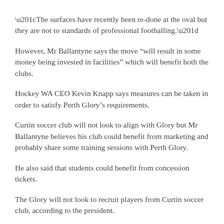“The surfaces have recently been re-done at the oval but they are not to standards of professional footballing.”
However, Mr Ballantyne says the move “will result in some money being invested in facilities” which will benefit both the clubs.
Hockey WA CEO Kevin Knapp says measures can be taken in order to satisfy Perth Glory’s requirements.
Curtin soccer club will not look to align with Glory but Mr Ballantyne believes his club could benefit from marketing and probably share some training sessions with Perth Glory.
He also said that students could benefit from concession tickets.
The Glory will not look to recruit players from Curtin soccer club, according to the president.
“Perth Glory will get players from professional leagues around the world.  They will look to pick the best players in the Western Australian state league.”